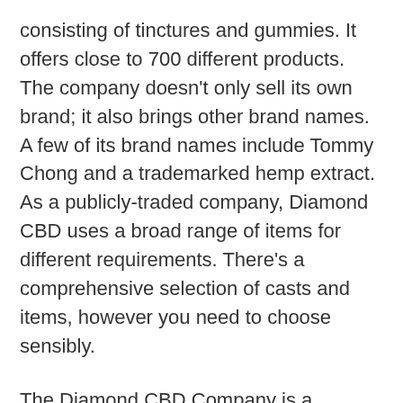consisting of tinctures and gummies. It offers close to 700 different products. The company doesn't only sell its own brand; it also brings other brand names. A few of its brand names include Tommy Chong and a trademarked hemp extract. As a publicly-traded company, Diamond CBD uses a broad range of items for different requirements. There's a comprehensive selection of casts and items, however you need to choose sensibly.
The Diamond CBD Company is a fantastic alternative if you are trying to find a broad range of CBD products. The company has an extensive product line that makes it easy to discover what you're trying to find. The site is easy to browse and enables you to filter by strength, type, and sale of products. In fact, the product line is so extensive that you can't perhaps buy them all. In 2018, the company had to go through